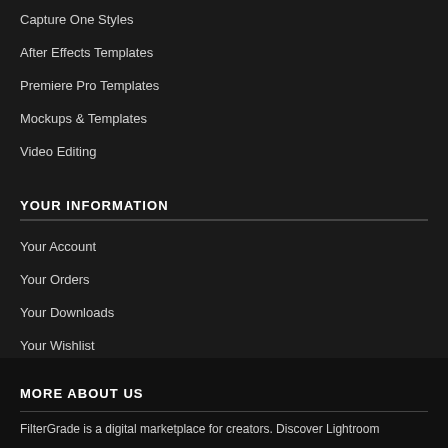Capture One Styles
After Effects Templates
Premiere Pro Templates
Mockups & Templates
Video Editing
YOUR INFORMATION
Your Account
Your Orders
Your Downloads
Your Wishlist
File Licenses
MORE ABOUT US
FilterGrade is a digital marketplace for creators. Discover Lightroom